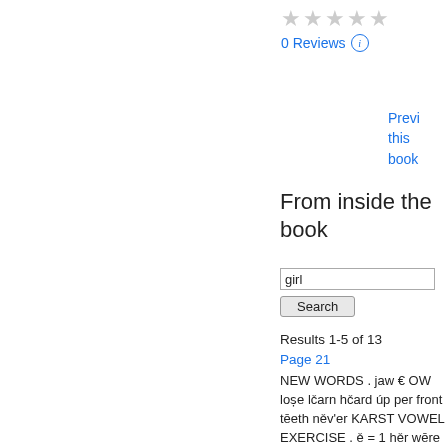[Figure (other): Five empty star rating icons displayed in a row]
0 Reviews ⓘ
Previ this book
From inside the book
girl
Search
Results 1-5 of 13
Page 21
NEW WORDS . jaw € OW loṣe lčarn hčard úp per front tēeth něv'er KARST VOWEL EXERCISE . ě = 1 hěr wēre sir girl bird ( " Papa ' , may I learn to milk the